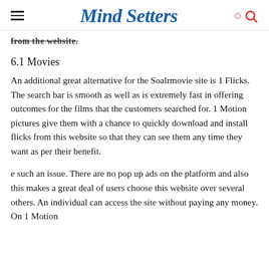Mind Setters
from the website.
6.1 Movies
An additional great alternative for the Soalrmovie site is 1 Flicks. The search bar is smooth as well as is extremely fast in offering outcomes for the films that the customers searched for. 1 Motion pictures give them with a chance to quickly download and install flicks from this website so that they can see them any time they want as per their benefit.
e such an issue. There are no pop up ads on the platform and also this makes a great deal of users choose this website over several others. An individual can access the site without paying any money. On 1 Motion